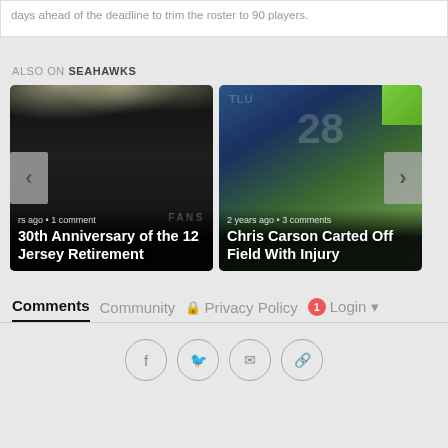days ahead of the deadline to trim the roster to 90 players.
ALSO ON SEAHAWKS
[Figure (photo): Card 1: Black and white stadium lights photo with text '30th Anniversary of the 12 Jersey Retirement', showing 'rs ago • 1 comment' and FANS watermark]
[Figure (photo): Card 2: Color sports photo of Chris Carson in Seahawks uniform being carted off field, showing '2 years ago • 3 comments']
Comments  Community  🔒 Privacy Policy  🔴1 Login ▾
Social share buttons: Facebook, Twitter, Email, Link